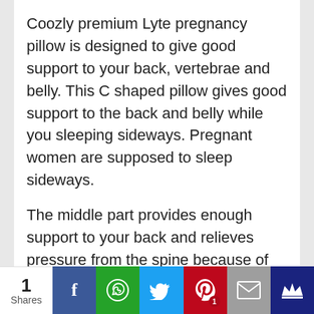Coozly premium Lyte pregnancy pillow is designed to give good support to your back, vertebrae and belly. This C shaped pillow gives good support to the back and belly while you sleeping sideways. Pregnant women are supposed to sleep sideways.
The middle part provides enough support to your back and relieves pressure from the spine because of the belly weight. The top end of this pillow can be placed under your head and the lower end between your legs.
The weight of the pillow is around 2.5 to 3 Kg. This pillow has one outer cover and an inner